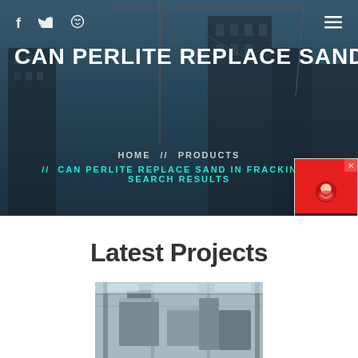f  [twitter]  [dribbble]  [menu]
CAN PERLITE REPLACE SAND IN
HOME  //  PRODUCTS  //  CAN PERLITE REPLACE SAND IN FRACKING –  SEARCH RESULTS
Latest Projects
[Figure (photo): Construction site interior with machinery and scaffolding, partially visible at the bottom of the page]